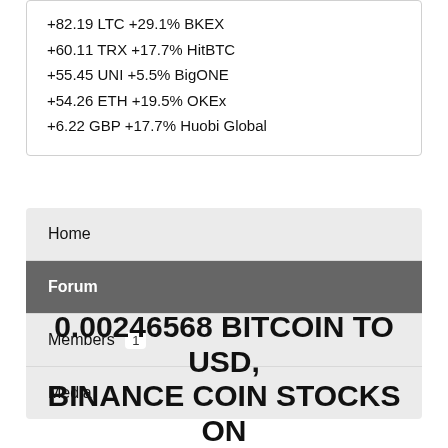+82.19 LTC +29.1% BKEX
+60.11 TRX +17.7% HitBTC
+55.45 UNI +5.5% BigONE
+54.26 ETH +19.5% OKEx
+6.22 GBP +17.7% Huobi Global
Home
Forum
Members 1
Media
0.00246568 BITCOIN TO USD, BINANCE COIN STOCKS ON...